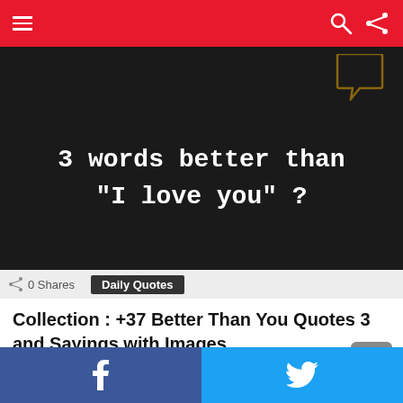Navigation bar with menu, search and share icons
[Figure (photo): Dark background image with white monospace text reading '3 words better than "I love you" ?' with a speech bubble graphic at top right]
0 Shares   Daily Quotes
Collection : +37 Better Than You Quotes 3 and Sayings with Images
Facebook share button | Twitter share button